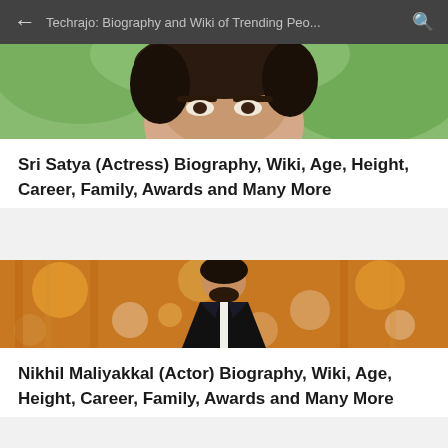Techrajo: Biography and Wiki of Trending Peo...
[Figure (photo): Cropped photo of Sri Satya (Actress), showing face close-up with greenery in background]
Sri Satya (Actress) Biography, Wiki, Age, Height, Career, Family, Awards and Many More
[Figure (photo): Photo of Nikhil Maliyakkal (Actor) in a black embroidered blazer against a bokeh golden/orange background]
Nikhil Maliyakkal (Actor) Biography, Wiki, Age, Height, Career, Family, Awards and Many More